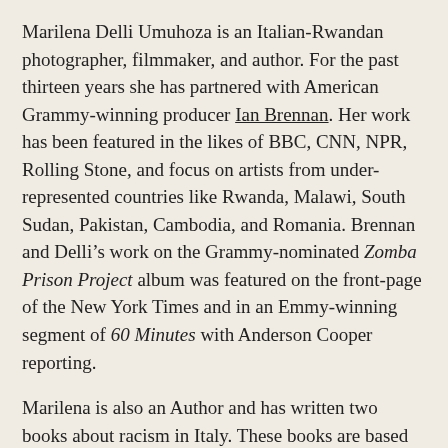Marilena Delli Umuhoza is an Italian-Rwandan photographer, filmmaker, and author. For the past thirteen years she has partnered with American Grammy-winning producer Ian Brennan. Her work has been featured in the likes of BBC, CNN, NPR, Rolling Stone, and focus on artists from under-represented countries like Rwanda, Malawi, South Sudan, Pakistan, Cambodia, and Romania. Brennan and Delli’s work on the Grammy-nominated Zomba Prison Project album was featured on the front-page of the New York Times and in an Emmy-winning segment of 60 Minutes with Anderson Cooper reporting.
Marilena is also an Author and has written two books about racism in Italy. These books are based on her personal experience growing up with an immigrant mother in one of Italy’s most conservative regions.
Marilena is the co-host and curator of a national radio show in Italy devoted to Italian African descendants. For over a decade,